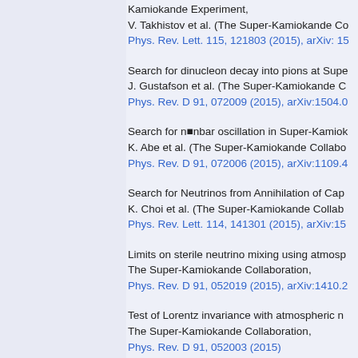Kamiokande Experiment,
V. Takhistov et al. (The Super-Kamiokande Co
Phys. Rev. Lett. 115, 121803 (2015), arXiv: 15
Search for dinucleon decay into pions at Supe
J. Gustafson et al. (The Super-Kamiokande C
Phys. Rev. D 91, 072009 (2015), arXiv:1504.0
Search for n■nbar oscillation in Super-Kamiok
K. Abe et al. (The Super-Kamiokande Collabo
Phys. Rev. D 91, 072006 (2015), arXiv:1109.4
Search for Neutrinos from Annihilation of Cap
K. Choi et al. (The Super-Kamiokande Collab
Phys. Rev. Lett. 114, 141301 (2015), arXiv:15
Limits on sterile neutrino mixing using atmosp
The Super-Kamiokande Collaboration,
Phys. Rev. D 91, 052019 (2015), arXiv:1410.2
Test of Lorentz invariance with atmospheric n
The Super-Kamiokande Collaboration,
Phys. Rev. D 91, 052003 (2015)
Supernova Relic Neutrino Search with Neutro